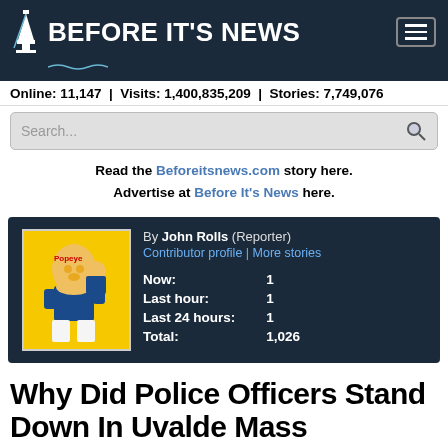BEFORE IT'S NEWS
Online: 11,147 | Visits: 1,400,835,209 | Stories: 7,749,076
Search...
Read the Beforeitsnews.com story here. Advertise at Before It's News here.
[Figure (screenshot): Article card with Popeye image, byline by John Rolls (Reporter), contributor profile and more stories links, and view stats: Now: 1, Last hour: 1, Last 24 hours: 1, Total: 1,026]
Why Did Police Officers Stand Down In Uvalde Mass Shooting? | JustInformed News